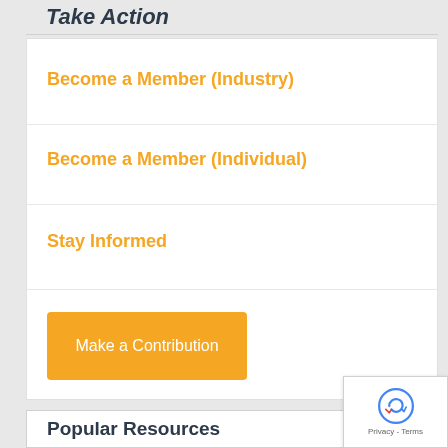Take Action
Become a Member (Industry)
Become a Member (Individual)
Stay Informed
Make a Contribution
Popular Resources
AKTI Knife Auction